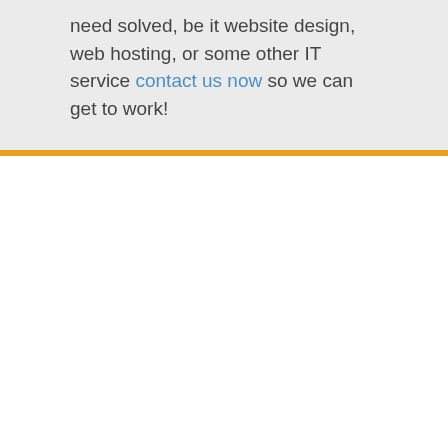need solved, be it website design, web hosting, or some other IT service contact us now so we can get to work!